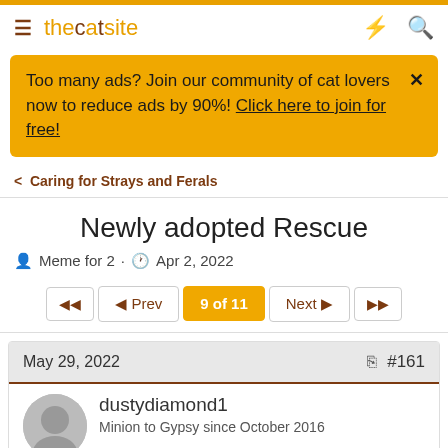thecatsite
Too many ads? Join our community of cat lovers now to reduce ads by 90%! Click here to join for free!
Caring for Strays and Ferals
Newly adopted Rescue
Meme for 2 · Apr 2, 2022
Prev 9 of 11 Next
May 29, 2022 #161
dustydiamond1
Minion to Gypsy since October 2016